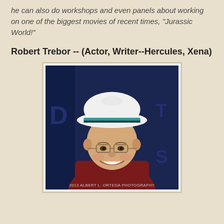he can also do workshops and even panels about working on one of the biggest movies of recent times, "Jurassic World!"
Robert Trebor -- (Actor, Writer--Hercules, Xena)
[Figure (photo): Photo of Robert Trebor, a man wearing a white bucket hat with a teal stripe, glasses, a teal shirt and a dark red jacket, smiling at the camera. Background shows a dark blue event backdrop. Photo credit: 2013 Albert L. Ortega Photography.]